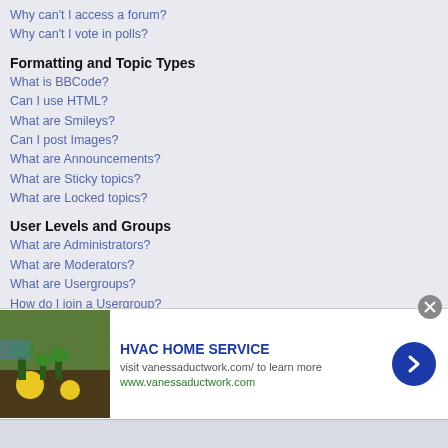Why can't I access a forum?
Why can't I vote in polls?
Formatting and Topic Types
What is BBCode?
Can I use HTML?
What are Smileys?
Can I post Images?
What are Announcements?
What are Sticky topics?
What are Locked topics?
User Levels and Groups
What are Administrators?
What are Moderators?
What are Usergroups?
How do I join a Usergroup?
How do I become a Usergroup Moderator?
Private Messaging
I cannot send private messages!
I keep getting unwanted private messages!
I have received a spamming or abusive email from someone on this board!
phpBB 2 Issues
Who wrote this bulletin board?
Why isn't X feature available?
[Figure (infographic): Advertisement banner for HVAC HOME SERVICE with a garden image, text 'visit vanessaductwork.com/ to learn more', URL www.vanessaductwork.com, and a blue arrow button]